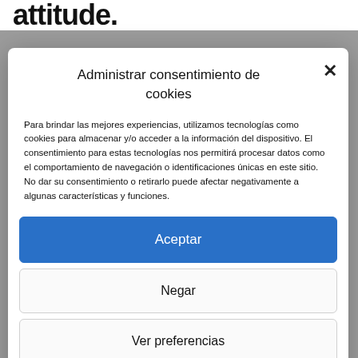attitude.
Administrar consentimiento de cookies
Para brindar las mejores experiencias, utilizamos tecnologías como cookies para almacenar y/o acceder a la información del dispositivo. El consentimiento para estas tecnologías nos permitirá procesar datos como el comportamiento de navegación o identificaciones únicas en este sitio. No dar su consentimiento o retirarlo puede afectar negativamente a algunas características y funciones.
Aceptar
Negar
Ver preferencias
Cookie  Privacy